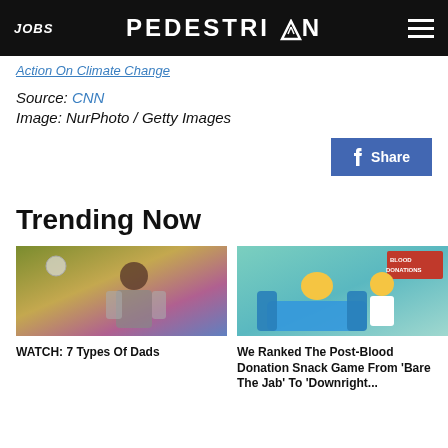JOBS | PEDESTRIAN | [menu]
Action On Climate Change
Source: CNN
Image: NurPhoto / Getty Images
Share
Trending Now
[Figure (photo): Man in colorful outfit standing against colorful wall with disco ball]
WATCH: 7 Types Of Dads
[Figure (illustration): Simpsons cartoon showing Homer at a blood donation clinic with a nurse]
We Ranked The Post-Blood Donation Snack Game From 'Bare The Jab' To 'Downright...